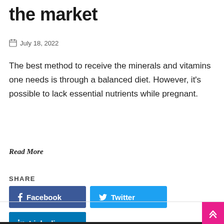the market
📅 July 18, 2022
The best method to receive the minerals and vitamins one needs is through a balanced diet. However, it's possible to lack essential nutrients while pregnant.
Read More
SHARE
[Figure (infographic): Social share buttons: Facebook (blue), Twitter (light blue), Pinterest (red), Linkedin (dark blue). A pink scroll-to-top button is at bottom right.]